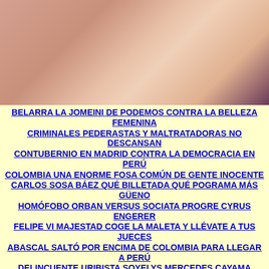[Figure (photo): Photograph cropped, showing skin tones and light/dark background areas]
BELARRA LA JOMEINI DE PODEMOS CONTRA LA BELLEZA FEMENINA
CRIMINALES PEDERASTAS Y MALTRATADORAS NO DESCANSAN
CONTUBERNIO EN MADRID CONTRA LA DEMOCRACIA EN PERÚ
COLOMBIA UNA ENORME FOSA COMÚN DE GENTE INOCENTE
CARLOS SOSA BÁEZ QUÉ BILLETADA QUÉ POGRAMA MÁS GÜENO
HOMÓFOBO ORBAN VERSUS SOCIATA PROGRE CYRUS ENGERER
FELIPE VI MAJESTAD COGE LA MALETA Y LLÉVATE A TUS JUECES
ABASCAL SALTÓ POR ENCIMA DE COLOMBIA PARA LLEGAR A PERÚ
DELINCUENTE URIBISTA SOYELYS MERCEDES CAYAMA BAQUEDANO